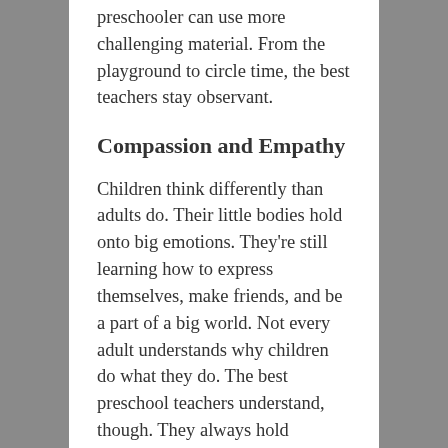preschooler can use more challenging material. From the playground to circle time, the best teachers stay observant.
Compassion and Empathy
Children think differently than adults do. Their little bodies hold onto big emotions. They're still learning how to express themselves, make friends, and be a part of a big world. Not every adult understands why children do what they do. The best preschool teachers understand, though. They always hold compassion and empathy for the children in their care. These teachers have the core understanding that every child matters. They know that every child is important. Other people may dismiss children for being small, but the best preschool teachers will always listen. They try to understand things from a child's perspective. This sense of